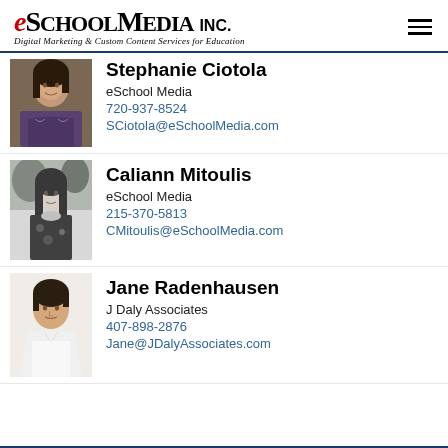eSchool Media Inc. — Digital Marketing & Custom Content Services for Education
[Figure (photo): Headshot photo of Stephanie Ciotola, partially cropped at top]
Stephanie Ciotola
eSchool Media
720-937-8524
SCiotola@eSchoolMedia.com
[Figure (photo): Black and white headshot photo of Caliann Mitoulis]
Caliann Mitoulis
eSchool Media
215-370-5813
CMitoulis@eSchoolMedia.com
[Figure (photo): Color headshot photo of Jane Radenhausen]
Jane Radenhausen
J Daly Associates
407-898-2876
Jane@JDalyAssociates.com